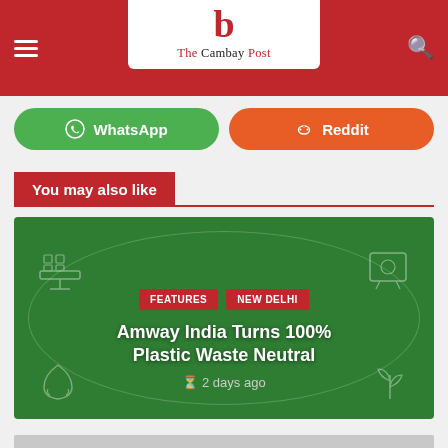The Cambay Post
[Figure (screenshot): WhatsApp share button (green rounded) and Reddit share button (orange rounded)]
You may also like
[Figure (illustration): Article card with dark green background showing eco/sustainability icons, tags 'FEATURES' and 'NEW DELHI', headline 'Amway India Turns 100% Plastic Waste Neutral', and timestamp '2 days ago']